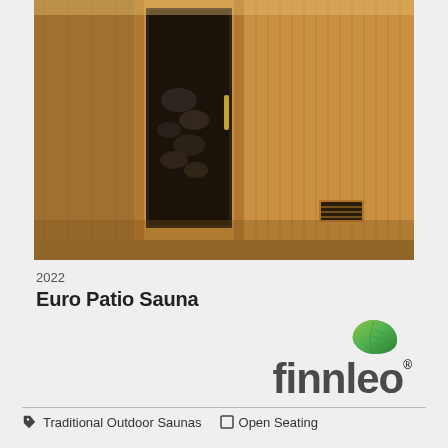[Figure (photo): Close-up photo of an outdoor wooden sauna with cedar paneling, a glass door with dark frame showing interior rocks, and a small ventilation grille on the lower right panel.]
2022
Euro Patio Sauna
[Figure (logo): Finnleo logo: green leaf graphic above the word 'finnleo' in large bold dark grey text with registered trademark symbol.]
Traditional Outdoor Saunas   Open Seating